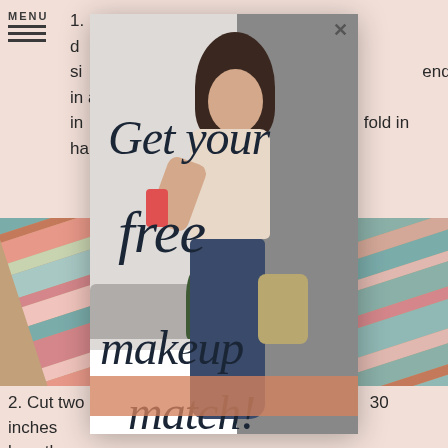[Figure (screenshot): Website screenshot showing a tutorial page with a modal popup overlay. Background shows a crafts/sewing tutorial with text about laying a beach towel and cutting ribbon strips. A modal popup appears centered over the page showing a woman taking a selfie with cursive text overlay reading 'Get your free makeup match!' with a salmon/coral CTA button at the bottom. The background photo shows colorful striped beach towels on a sandy surface.]
1. First of all, lay your beach towel down with the right side...ends in about 6 inches... fold in half
2. Cut two strips of your ribbon about 30 inches long then...